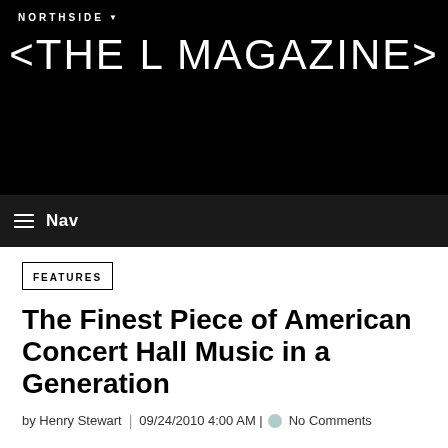NORTHSIDE
<THE L MAGAZINE>
Nav
FEATURES
The Finest Piece of American Concert Hall Music in a Generation
by Henry Stewart  |  09/24/2010 4:00 AM |  No Comments